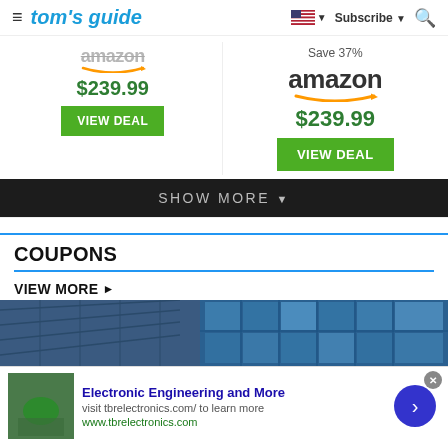tom's guide — Subscribe — Search
[Figure (screenshot): Amazon logo with orange arrow (small, partially obscured) above price $239.99 and VIEW DEAL button on left side]
[Figure (screenshot): Save 37% text, Amazon logo with orange arrow, price $239.99, and VIEW DEAL button on right side]
SHOW MORE ▼
COUPONS
VIEW MORE ►
[Figure (photo): Building with blue glass facade and geometric ceiling panels]
[Figure (infographic): Advertisement: Electronic Engineering and More — visit tbrelectronics.com/ to learn more — www.tbrelectronics.com]